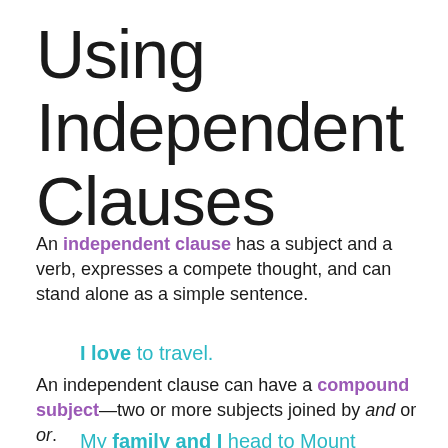Using Independent Clauses
An independent clause has a subject and a verb, expresses a compete thought, and can stand alone as a simple sentence.
I love to travel.
An independent clause can have a compound subject—two or more subjects joined by and or or.
My family and I head to Mount Rushmore.